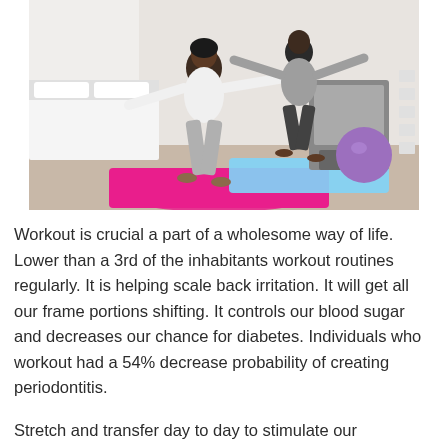[Figure (photo): Two people, a woman and a man, doing yoga warrior pose on exercise mats (pink and blue) in a bedroom/home gym setting. A treadmill and large purple exercise ball are visible in the background.]
Workout is crucial a part of a wholesome way of life. Lower than a 3rd of the inhabitants workout routines regularly. It is helping scale back irritation. It will get all our frame portions shifting. It controls our blood sugar and decreases our chance for diabetes. Individuals who workout had a 54% decrease probability of creating periodontitis.
Stretch and transfer day to day to stimulate our